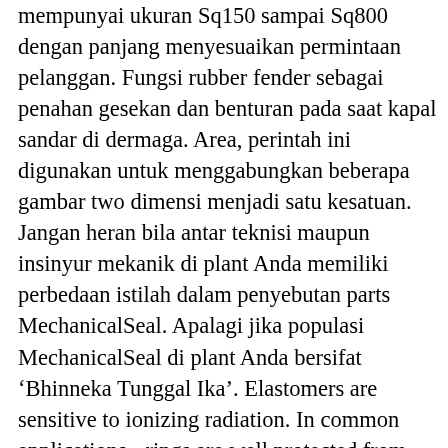mempunyai ukuran Sq150 sampai Sq800 dengan panjang menyesuaikan permintaan pelanggan. Fungsi rubber fender sebagai penahan gesekan dan benturan pada saat kapal sandar di dermaga. Area, perintah ini digunakan untuk menggabungkan beberapa gambar two dimensi menjadi satu kesatuan. Jangan heran bila antar teknisi maupun insinyur mekanik di plant Anda memiliki perbedaan istilah dalam penyebutan parts MechanicalSeal. Apalagi jika populasi MechanicalSeal di plant Anda bersifat ‘Bhinneka Tunggal Ika’. Elastomers are sensitive to ionizing radiation. In common applications, -rings are well protected from less penetrating radiation such as ultraviolet and soft X-rays, but much more penetrating radiation such as neutrons might lead to rapid deterioration. In such environments, soft metal seals are used. Figures 17 and